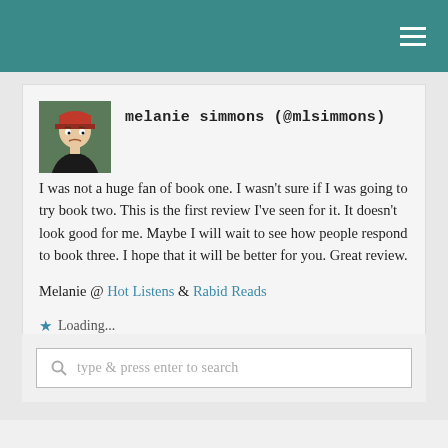melanie simmons (@mlsimmons)
I was not a huge fan of book one. I wasn't sure if I was going to try book two. This is the first review I've seen for it. It doesn't look good for me. Maybe I will wait to see how people respond to book three. I hope that it will be better for you. Great review.

Melanie @ Hot Listens & Rabid Reads
Loading...
september 13, 2017, 12:37 pm
type & press enter to search